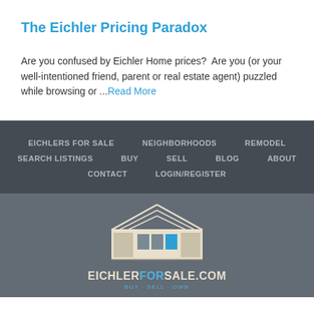The Eichler Pricing Paradox
Are you confused by Eichler Home prices?  Are you (or your well-intentioned friend, parent or real estate agent) puzzled while browsing or ...Read More
EICHLERS FOR SALE   NEIGHBORHOODS   REMODEL   SEARCH LISTINGS   BUY   SELL   BLOG   ABOUT   CONTACT   LOGIN/REGISTER
[Figure (logo): EichlerForSale.com logo with house illustration and tagline BUY · SELL · OWN]